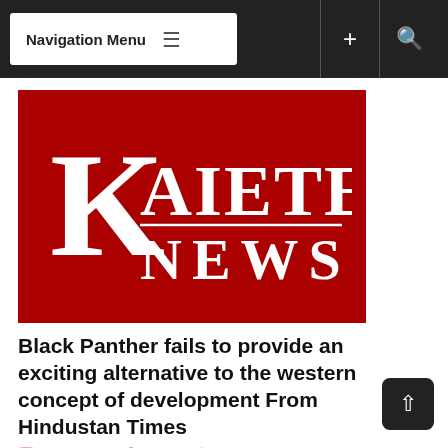Navigation Menu
[Figure (logo): Kaieteur News logo — white serif text 'KAIETEUR NEWS' on dark red background]
Black Panther fails to provide an exciting alternative to the western concept of development From Hindustan Times
Feb 28, 2018   KNews   Editorial, Features /